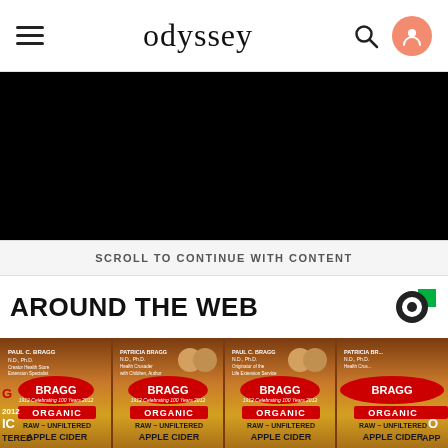odyssey
[Figure (other): Black advertisement banner placeholder]
SCROLL TO CONTINUE WITH CONTENT
AROUND THE WEB
[Figure (photo): Multiple bottles of Bragg Organic Raw Unfiltered Apple Cider Vinegar lined up side by side, showing yellow and red labels with BRAGG branding, Celebrating 100 Years tagline, and the text ORGANIC RAW UNFILTERED APPLE CIDER VINEGAR]